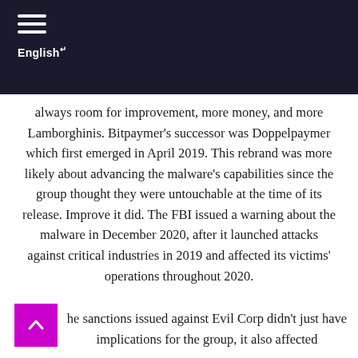English
always room for improvement, more money, and more Lamborghinis. Bitpaymer’s successor was Doppelpaymer which first emerged in April 2019. This rebrand was more likely about advancing the malware’s capabilities since the group thought they were untouchable at the time of its release. Improve it did. The FBI issued a warning about the malware in December 2020, after it launched attacks against critical industries in 2019 and affected its victims’ operations throughout 2020.
he sanctions issued against Evil Corp didn’t just have implications for the group, it also affected